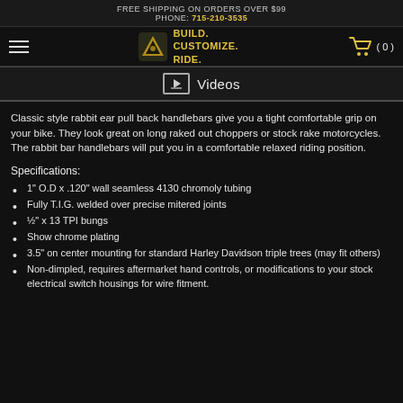FREE SHIPPING ON ORDERS OVER $99
PHONE: 715-210-3535
BUILD. CUSTOMIZE. RIDE.
Videos
Classic style rabbit ear pull back handlebars give you a tight comfortable grip on your bike. They look great on long raked out choppers or stock rake motorcycles. The rabbit bar handlebars will put you in a comfortable relaxed riding position.
Specifications:
1" O.D x .120" wall seamless 4130 chromoly tubing
Fully T.I.G. welded over precise mitered joints
½" x 13 TPI bungs
Show chrome plating
3.5" on center mounting for standard Harley Davidson triple trees (may fit others)
Non-dimpled, requires aftermarket hand controls, or modifications to your stock electrical switch housings for wire fitment.